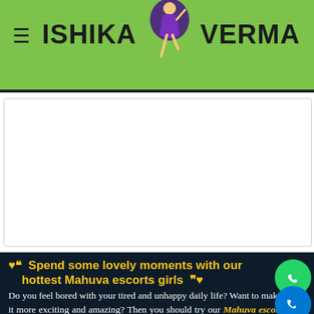ISHIKA VERMA (logo/header with figure illustration)
[Figure (illustration): White ad/content placeholder box]
❤ ❝ Spend some lovely moments with our hottest Mahuva escorts girls ❞ ❤
Do you feel bored with your tired and unhappy daily life? Want to make it more exciting and amazing? Then you should try our Mahuva escort services. We are best at